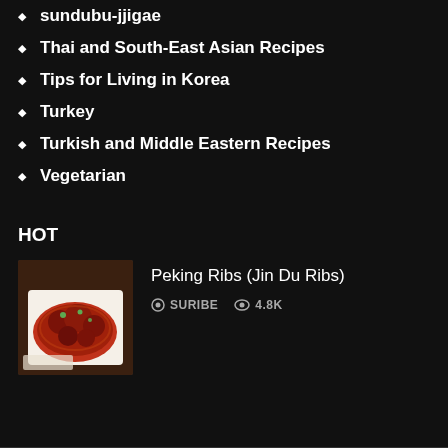sundubu-jjigae
Thai and South-East Asian Recipes
Tips for Living in Korea
Turkey
Turkish and Middle Eastern Recipes
Vegetarian
HOT
Peking Ribs (Jin Du Ribs)
SURIBE   4.8K
[Figure (photo): Photo of Peking Ribs (Jin Du Ribs) in a white dish, glazed meat with garnish on a wooden surface with a red/white cloth]